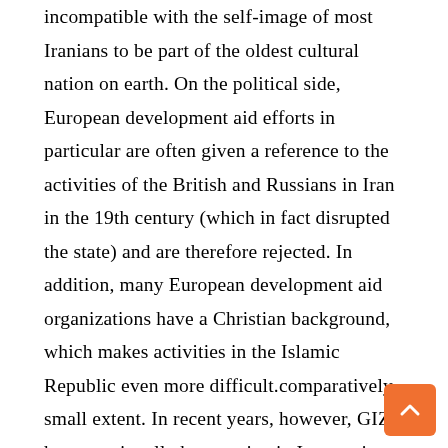incompatible with the self-image of most Iranians to be part of the oldest cultural nation on earth. On the political side, European development aid efforts in particular are often given a reference to the activities of the British and Russians in Iran in the 19th century (which in fact disrupted the state) and are therefore rejected. In addition, many European development aid organizations have a Christian background, which makes activities in the Islamic Republic even more difficult.comparatively small extent. In recent years, however, GIZ has occasionally been active in Iran again, the focus of its work is then on developing the Iranian economy, and there is also some private sector involvement. In addition, there have recently been a number of German initiatives in the field of climate protection as well as vocational